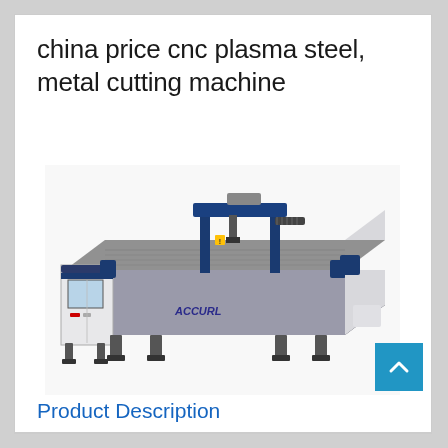china price cnc plasma steel, metal cutting machine
[Figure (photo): CNC plasma steel and metal cutting machine by ACCURL brand, showing a large flat-bed industrial cutting table with a gantry, control panel on the left side, and blue/white/gray industrial design.]
Product Description